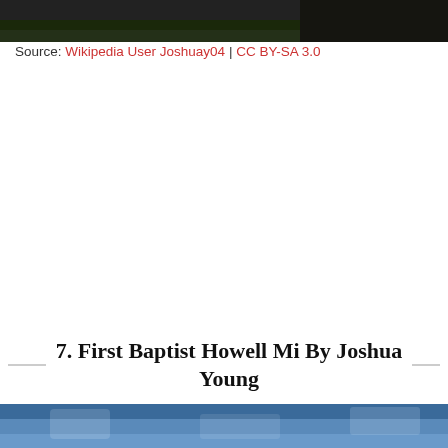[Figure (photo): Top portion of an outdoor photograph, showing dark building/structure against greenery, cropped at the top of the page]
Source: Wikipedia User Joshuay04 | CC BY-SA 3.0
7. First Baptist Howell Mi By Joshua Young
[Figure (photo): Bottom portion of a photograph, showing blue sky and possibly outdoor scenery, cropped at the bottom of the page]